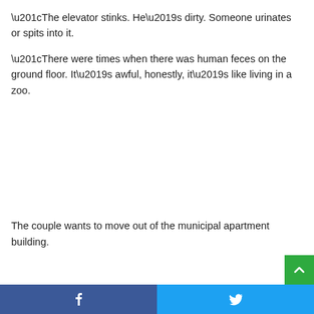“The elevator stinks. He’s dirty. Someone urinates or spits into it.
“There were times when there was human feces on the ground floor. It’s awful, honestly, it’s like living in a zoo.
The couple wants to move out of the municipal apartment building.
Facebook | Twitter